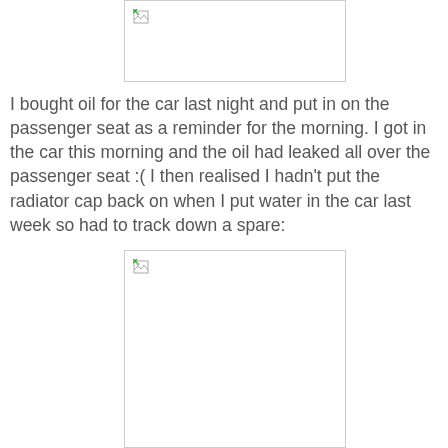[Figure (photo): Broken/missing image placeholder at top of page]
I bought oil for the car last night and put in on the passenger seat as a reminder for the morning. I got in the car this morning and the oil had leaked all over the passenger seat :( I then realised I hadn't put the radiator cap back on when I put water in the car last week so had to track down a spare:
[Figure (photo): Broken/missing image placeholder at bottom of page]